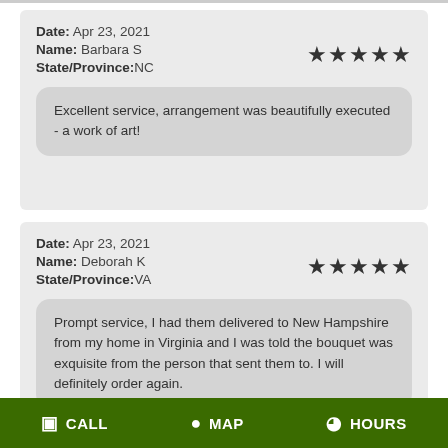Date: Apr 23, 2021
Name: Barbara S
State/Province:NC
★★★★★
Excellent service, arrangement was beautifully executed - a work of art!
Date: Apr 23, 2021
Name: Deborah K
State/Province:VA
★★★★★
Prompt service, I had them delivered to New Hampshire from my home in Virginia and I was told the bouquet was exquisite from the person that sent them to. I will definitely order again.
CALL  MAP  HOURS